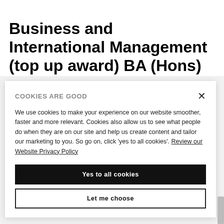Business and International Management (top up award) BA (Hons)
Facilities
COOKIES ARE GOOD
We use cookies to make your experience on our website smoother, faster and more relevant. Cookies also allow us to see what people do when they are on our site and help us create content and tailor our marketing to you. So go on, click 'yes to all cookies'. Review our Website Privacy Policy
Yes to all cookies
Let me choose